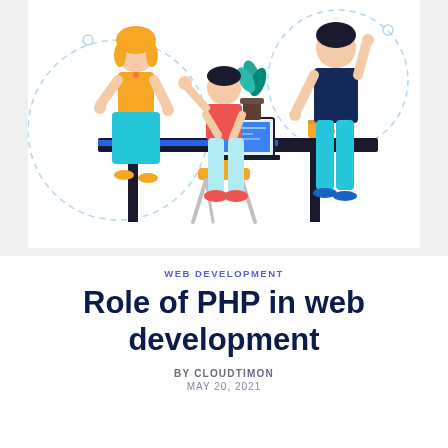[Figure (illustration): Flat vector illustration of three people working at a desk. A woman in a teal skirt stands on the left, a person in a red shirt sits at a laptop in the center, and a person in a dark navy outfit stands on the right. There are geometric dashed circle outlines in the background and a small plant on the desk.]
WEB DEVELOPMENT
Role of PHP in web development
BY CLOUDTIMON
MAY 20, 2021